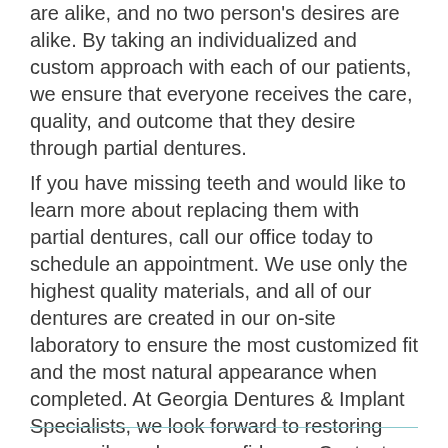are alike, and no two person's desires are alike. By taking an individualized and custom approach with each of our patients, we ensure that everyone receives the care, quality, and outcome that they desire through partial dentures.
If you have missing teeth and would like to learn more about replacing them with partial dentures, call our office today to schedule an appointment. We use only the highest quality materials, and all of our dentures are created in our on-site laboratory to ensure the most customized fit and the most natural appearance when completed. At Georgia Dentures & Implant Specialists, we look forward to restoring your smile and your confidence. Contact us today.